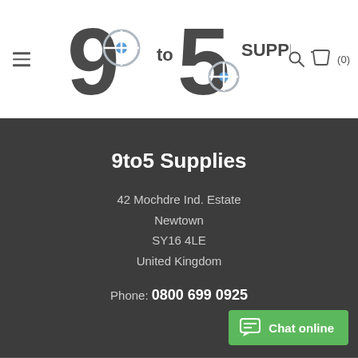[Figure (logo): 9to5 Supplies logo with stylized 9 and 5 digits and crosshair/target icons]
9to5 Supplies
42 Mochdre Ind. Estate
Newtown
SY16 4LE
United Kingdom
Phone: 0800 699 0925